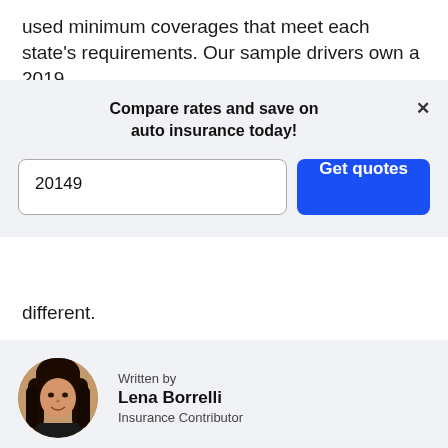used minimum coverages that meet each state’s requirements. Our sample drivers own a 2019
[Figure (infographic): Modal overlay with title 'Compare rates and save on auto insurance today!', a zip code input field showing '20149', a blue 'Get quotes' button, and a close (X) button in the top right.]
different.
[Figure (photo): Circular portrait photo of a woman with long dark hair, smiling, wearing a dark top.]
Written by
Lena Borrelli
Insurance Contributor